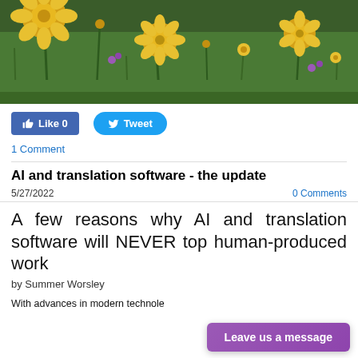[Figure (photo): Photograph of yellow wildflowers (buttercups) and other colorful flowers in a green meadow, taken from a low angle looking up through the stems.]
[Figure (screenshot): Social media buttons: a blue Facebook Like button showing 'Like 0' and a blue Twitter Tweet button.]
1 Comment
AI and translation software - the update
5/27/2022
0 Comments
A few reasons why AI and translation software will NEVER top human-produced work
by Summer Worsley
With advances in modern techno...e
Leave us a message